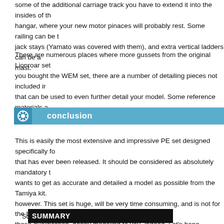some of the additional carriage track you have to extend it into the insides of the hangar, where your new motor pinaces will probably rest. Some railing can be the jack stays (Yamato was covered with them), and extra vertical ladders can be added to the mast.
There are numerous places where more gussets from the original Lionroar set... you bought the WEM set, there are a number of detailing pieces not included in... that can be used to even further detail your model. Some reference materials a... already spent this much money for the set.
conclusion
This is easily the most extensive and impressive PE set designed specifically fo... that has ever been released. It should be considered as absolutely mandatory t... wants to get as accurate and detailed a model as possible from the Tamiya kit. however. This set is huge, will be very time consuming, and is not for the begin... these qualification, happy modeling to you, indeed. Let's hope Lionroar update... I start on Musashi....
| SUMMARY | Scale: | 1:350 |
| --- | --- | --- |